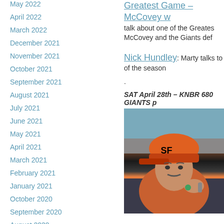May 2022
April 2022
March 2022
December 2021
November 2021
October 2021
September 2021
August 2021
July 2021
June 2021
May 2021
April 2021
March 2021
February 2021
January 2021
October 2020
September 2020
August 2020
Greatest Game – McCovey w
talk about one of the Greates McCovey and the Giants def
Nick Hundley: Marty talks to of the season
.
SAT April 28th – KNBR 680 GIANTS p
[Figure (photo): SF Giants player wearing an orange SF Giants cap, apparently speaking into a microphone, wearing a dark jacket with orange Giants colors, with a green ring visible on hand.]